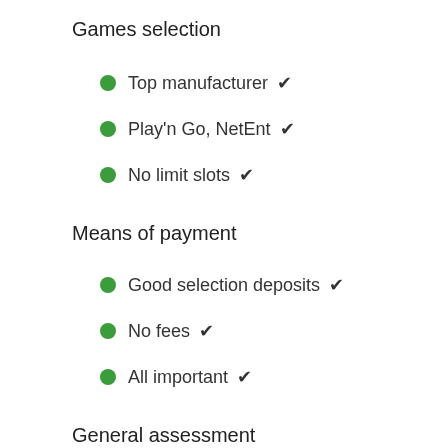Games selection
Top manufacturer ✔
Play'n Go, NetEnt ✔
No limit slots ✔
Means of payment
Good selection deposits ✔
No fees ✔
All important ✔
General assessment
MGA Malta License ✔
No limit for Germans ✔
Top recommendation ✔
Test report and player rating about